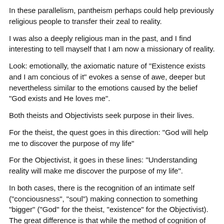In these parallelism, pantheism perhaps could help previously religious people to transfer their zeal to reality.
I was also a deeply religious man in the past, and I find interesting to tell mayself that I am now a missionary of reality.
Look: emotionally, the axiomatic nature of "Existence exists and I am concious of it" evokes a sense of awe, deeper but nevertheless similar to the emotions caused by the belief "God exists and He loves me".
Both theists and Objectivists seek purpose in their lives.
For the theist, the quest goes in this direction: "God will help me to discover the purpose of my life"
For the Objectivist, it goes in these lines: "Understanding reality will make me discover the purpose of my life".
In both cases, there is the recognition of an intimate self ("conciousness", "soul") making connection to something "bigger" ("God" for the theist, "existence" for the Objectivist). The great difference is that while the method of cognition of the Objectivist is logic and introspection, the method of the theist is a kind of